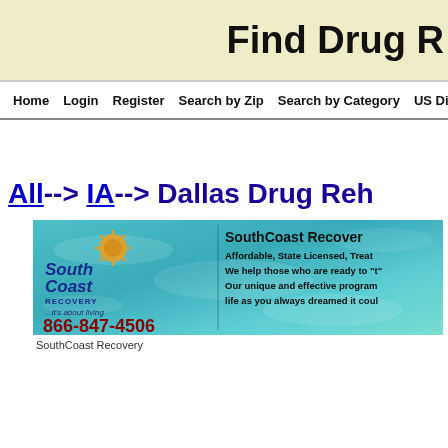Find Drug R
Home   Login   Register   Search by Zip   Search by Category   US Directory   Co
All--> IA--> Dallas Drug Reh
[Figure (infographic): SouthCoast Recovery advertisement banner with teal water background. Left side shows SouthCoast Recovery logo with spiral sun icon, italic text '...it's about living', and phone number 866-847-4506 in dark red. Right side shows 'SouthCoast Recovery' in bold black, followed by 'Affordable, State Licensed, Treat', 'We help those who are ready to "t"', 'Our unique and effective program', 'life as you always dreamed it coul']
SouthCoast Recovery